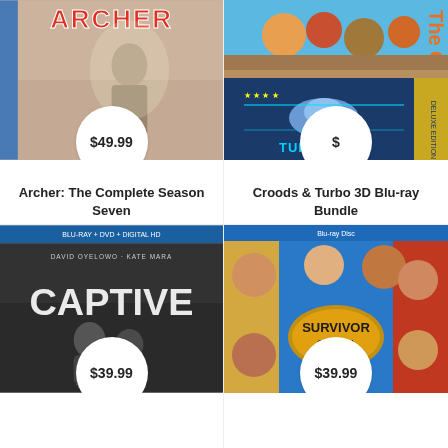[Figure (photo): DVD/Blu-ray cover of Archer: The Complete Season Seven, animated spy comedy, with price bubble showing $49.99]
Archer: The Complete Season Seven
[Figure (photo): Blu-ray bundle cover of The Croods and Turbo 3D, with price bubble showing $]
Croods & Turbo 3D Blu-ray Bundle
[Figure (photo): Blu-ray + DVD + Digital HD cover of Captive starring David Oyelowo and Kate Mara, with price bubble showing $39.99]
[Figure (photo): Blu-ray Disc cover of Survivor TV show, with price bubble showing $39.99]